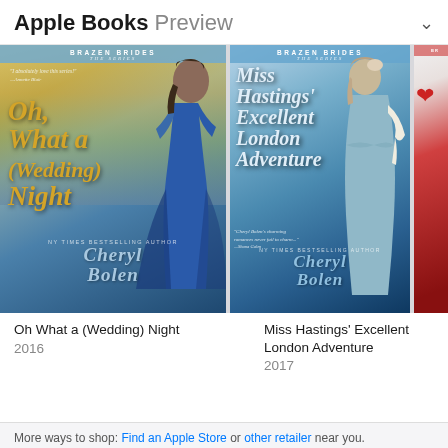Apple Books Preview
[Figure (photo): Book cover: Oh What a (Wedding) Night by Cheryl Bolen, 2016. A woman in a blue dress on the cover with golden title text. Part of the Brazen Brides series.]
[Figure (photo): Book cover: Miss Hastings' Excellent London Adventure by Cheryl Bolen, 2017. A woman in a blue Regency dress on the cover. Part of the Brazen Brides series.]
[Figure (photo): Partial book cover: A book by Cheryl Bolen, 2017, partially visible on the right edge. Red cover with partial title beginning with 'A B'.]
Oh What a (Wedding) Night
2016
Miss Hastings' Excellent London Adventure
2017
A B...
Ch...
201...
More ways to shop: Find an Apple Store or other retailer near you.